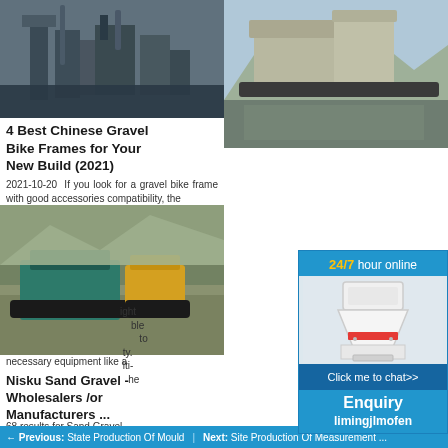[Figure (photo): Industrial/mining machinery or plant equipment, gravel/aggregate processing]
4 Best Chinese Gravel Bike Frames for Your New Build (2021)
2021-10-20  If you look for a gravel bike frame with good accessories compatibility, the
[Figure (photo): Mobile crushing/mining equipment at quarry site]
necessary equipment like a
Nisku Sand Gravel - Wholesalers /or Manufacturers ...
68 results for Sand Gravel - Wholesalers /or Manufacturers in Nisku, AB. Outer Industries AB
[Figure (photo): Aggregate crusher, industrial machinery in outdoor setting]
germany aggregate crusher manufacturers in germany rock crusher
The 10 Best Sand And Gravel Delivery Near Me (with Free ...
Additionally, I take pride in my work,am insured,registered with the state
[Figure (photo): Industrial ball mill or similar grinding machinery]
China Fo language Bike Ma Period/Wh Factory . provide fo
2021-10-3 Bike - Chi technologi
[Figure (illustration): Chat widget showing 24/7 hour online with cone crusher image and Click me to chat button]
Enquiry
limingjlmofen
Previous: State Production Of Mould   Next: Site Measurement Of...